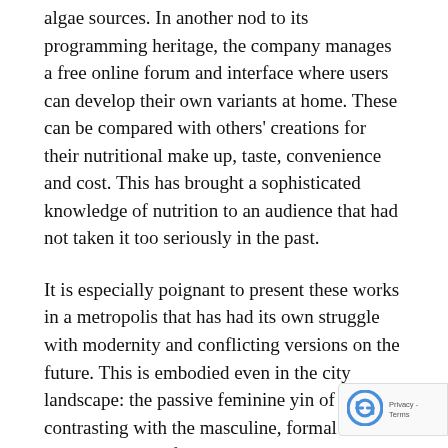algae sources. In another nod to its programming heritage, the company manages a free online forum and interface where users can develop their own variants at home. These can be compared with others' creations for their nutritional make up, taste, convenience and cost. This has brought a sophisticated knowledge of nutrition to an audience that had not taken it too seriously in the past.
It is especially poignant to present these works in a metropolis that has had its own struggle with modernity and conflicting versions on the future. This is embodied even in the city landscape: the passive feminine yin of Puxi contrasting with the masculine, formal and imposing yang of Pudong. Here, the city's emblem, the Pearl TV tower, stan proudly above them both. Already anachronisti the time it was completed in 1994, this is a const